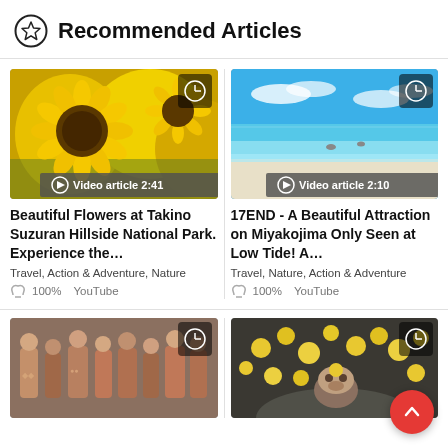Recommended Articles
[Figure (photo): Close-up of bright yellow sunflowers with a clock/bookmark icon and video badge showing 'Video article 2:41']
Beautiful Flowers at Takino Suzuran Hillside National Park. Experience the…
Travel,  Action & Adventure,  Nature
100%   YouTube
[Figure (photo): Tropical beach scene with turquoise water, white sand, and blue sky with clouds. Clock/bookmark icon and video badge showing 'Video article 2:10']
17END - A Beautiful Attraction on Miyakojima Only Seen at Low Tide! A…
Travel,  Nature,  Action & Adventure
100%   YouTube
[Figure (photo): Group of people in traditional Japanese clothing, appears to be historical or festival scene. Clock/bookmark icon visible.]
[Figure (photo): Monkeys (likely Japanese macaques) in a hot spring bath with floating yuzu/citrus fruits. Clock/bookmark icon visible.]